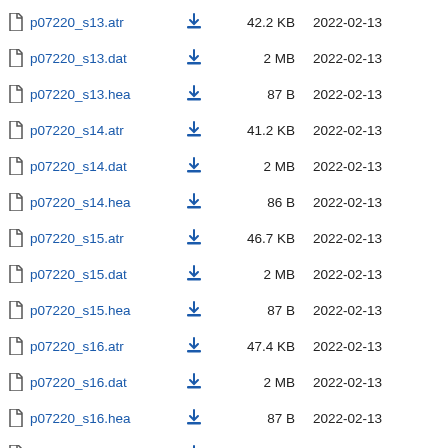p07220_s13.atr  42.2 KB  2022-02-13
p07220_s13.dat  2 MB  2022-02-13
p07220_s13.hea  87 B  2022-02-13
p07220_s14.atr  41.2 KB  2022-02-13
p07220_s14.dat  2 MB  2022-02-13
p07220_s14.hea  86 B  2022-02-13
p07220_s15.atr  46.7 KB  2022-02-13
p07220_s15.dat  2 MB  2022-02-13
p07220_s15.hea  87 B  2022-02-13
p07220_s16.atr  47.4 KB  2022-02-13
p07220_s16.dat  2 MB  2022-02-13
p07220_s16.hea  87 B  2022-02-13
p07220_s17.atr  50.8 KB  2022-02-13
p07220_s17.dat  2 MB  2022-02-13